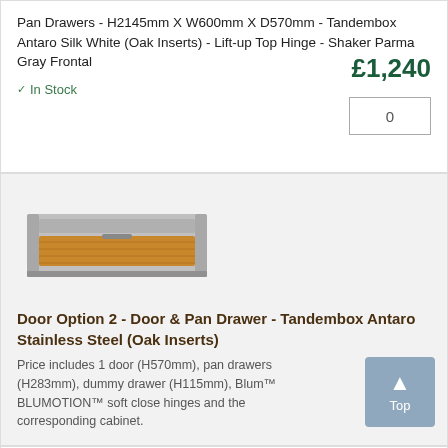Pan Drawers - H2145mm X W600mm X D570mm - Tandembox Antaro Silk White (Oak Inserts) - Lift-up Top Hinge - Shaker Parma Gray Frontal
In Stock
£1,240
0
[Figure (photo): Product image of a pan drawer unit showing a stainless steel frame with oak wood insert panel]
Door Option 2 - Door & Pan Drawer - Tandembox Antaro Stainless Steel (Oak Inserts)
Price includes 1 door (H570mm), pan drawers (H283mm), dummy drawer (H115mm), Blum™ BLUMOTION™ soft close hinges and the corresponding cabinet.
Top
Solid Oak Full Height Double Oven Cabinet Door &